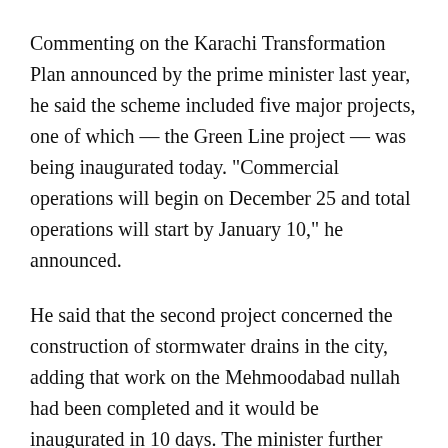Commenting on the Karachi Transformation Plan announced by the prime minister last year, he said the scheme included five major projects, one of which — the Green Line project — was being inaugurated today. "Commercial operations will begin on December 25 and total operations will start by January 10," he announced.
He said that the second project concerned the construction of stormwater drains in the city, adding that work on the Mehmoodabad nullah had been completed and it would be inaugurated in 10 days. The minister further said 50 per cent of the work on the Gujjar and Orangi nullahs had been completed.
Umar said the federal government had also taken responsibility for the K-IV water supply project after it was abandoned, adding that the PC-1 for the project had been submitted to the planning ministry and work would begin within two months.